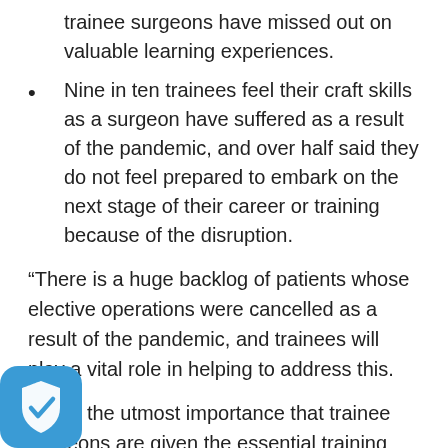trainee surgeons have missed out on valuable learning experiences.
Nine in ten trainees feel their craft skills as a surgeon have suffered as a result of the pandemic, and over half said they do not feel prepared to embark on the next stage of their career or training because of the disruption.
“There is a huge backlog of patients whose elective operations were cancelled as a result of the pandemic, and trainees will play a vital role in helping to address this.
It is of the utmost importance that trainee surgeons are given the essential training and experience they need in the coming months, or we risk facing not only a serious skills shortage, but a longer term